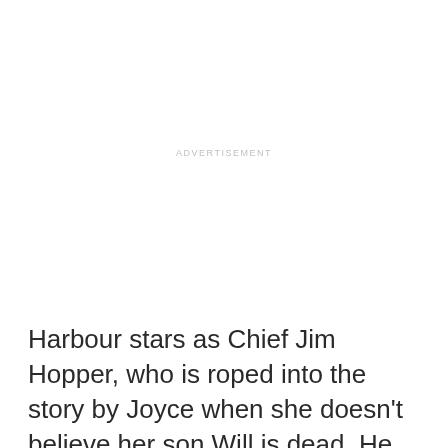ADVERTISEMENT
Harbour stars as Chief Jim Hopper, who is roped into the story by Joyce when she doesn't believe her son Will is dead. He remains a part of the core group after discovering the Upside